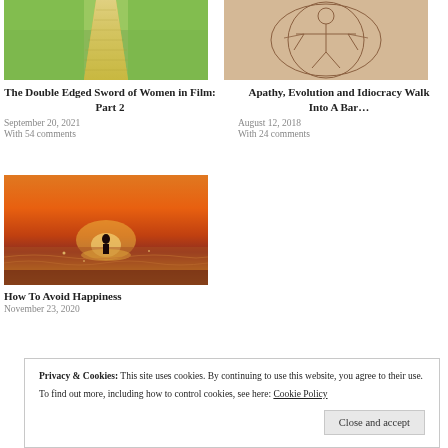[Figure (photo): Brick pathway leading into distance with green grass on sides]
The Double Edged Sword of Women in Film: Part 2
September 20, 2021
With 54 comments
[Figure (photo): Vitruvian man style anatomical drawing on aged paper]
Apathy, Evolution and Idiocracy Walk Into A Bar…
August 12, 2018
With 24 comments
[Figure (photo): Person standing in ocean water at sunset with orange sky]
How To Avoid Happiness
November 23, 2020
Privacy & Cookies: This site uses cookies. By continuing to use this website, you agree to their use. To find out more, including how to control cookies, see here: Cookie Policy
Close and accept